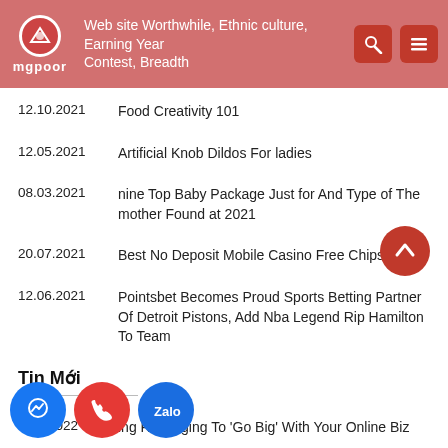19.?.2021  Web site Worthwhile, Ethnic culture, Earning Year Contest, Breadth  mgpoor
12.10.2021  Food Creativity 101
12.05.2021  Artificial Knob Dildos For ladies
08.03.2021  nine Top Baby Package Just for And Type of The mother Found at 2021
20.07.2021  Best No Deposit Mobile Casino Free Chips
12.06.2021  Pointsbet Becomes Proud Sports Betting Partner Of Detroit Pistons, Add Nba Legend Rip Hamilton To Team
Tin Mới
02.?.2022  ing Re  kaging To 'Go Big' With Your Online Biz
10.?.2022  ite My  per org Reviews